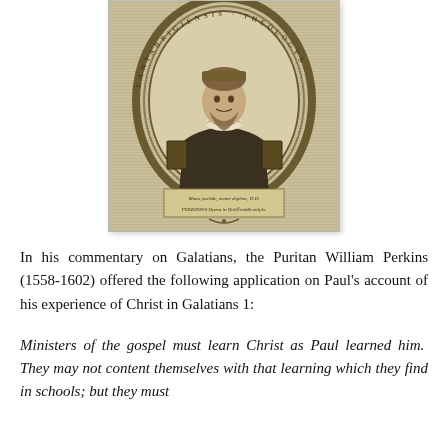[Figure (illustration): Historical engraving portrait of William Perkins (1558-1602), a Puritan theologian, shown in an oval frame with decorative border and Latin text inscription at the bottom.]
In his commentary on Galatians, the Puritan William Perkins (1558-1602) offered the following application on Paul's account of his experience of Christ in Galatians 1:
Ministers of the gospel must learn Christ as Paul learned him.  They may not content themselves with that learning which they find in schools; but they must